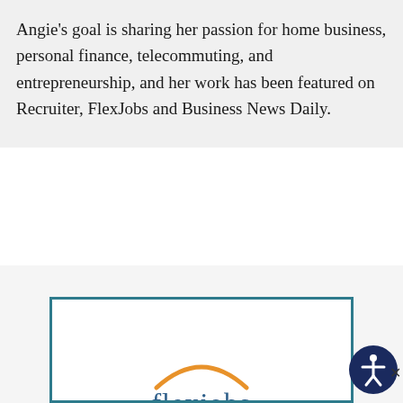Angie's goal is sharing her passion for home business, personal finance, telecommuting, and entrepreneurship, and her work has been featured on Recruiter, FlexJobs and Business News Daily.
[Figure (logo): FlexJobs logo inside a teal-bordered white advertisement box. The logo shows 'flexjobs' text with an orange arc above and a gray arc below.]